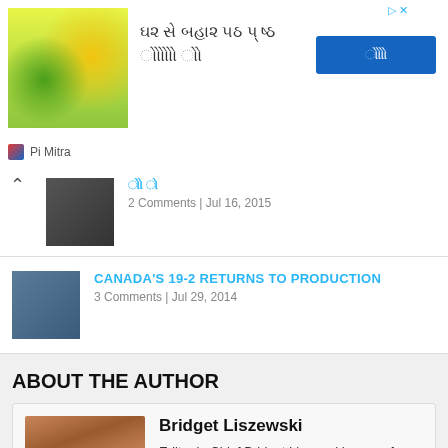[Figure (other): Advertisement banner with Gujarati text, product image (green/yellow themed), blue CTA button labeled with Gujarati text, and Pi Mitra branding at bottom]
2 Comments | Jul 16, 2015
CANADA'S 19-2 RETURNS TO PRODUCTION
3 Comments | Jul 29, 2014
ABOUT THE AUTHOR
Bridget Liszewski
Editor in Chief Bridget Liszewski comes from a long line of TV Junkies who fostered her love of television from a very young age. She's channeled that passion into covering both US and Canadian television